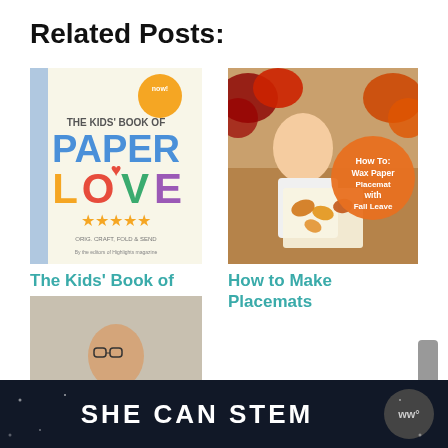Related Posts:
[Figure (photo): Book cover of 'The Kids' Book of Paper Love' with colorful lettering, a heart, and five-star rating]
[Figure (photo): Child holding wax paper placemat with fall leaves, orange badge reading 'How To: Wax Paper Placemats with Fall Leaves']
[Figure (photo): Child dressed in old-fashioned attire with '100 Years' text overlay]
The Kids' Book of
How to Make Placemats
How To Dress
SHE CAN STEM